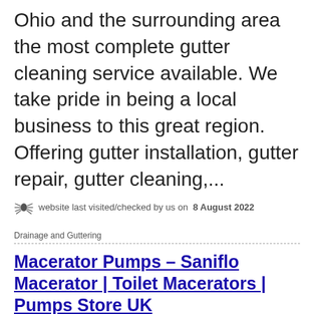Ohio and the surrounding area the most complete gutter cleaning service available. We take pride in being a local business to this great region. Offering gutter installation, gutter repair, gutter cleaning,...
website last visited/checked by us on 8 August 2022
Drainage and Guttering
Macerator Pumps – Saniflo Macerator | Toilet Macerators | Pumps Store UK
macerator-pumps.com SILVER LISTING
Macerator Pumps – Saniflo Macerator | Toilet Macerators | Pumps Store UK